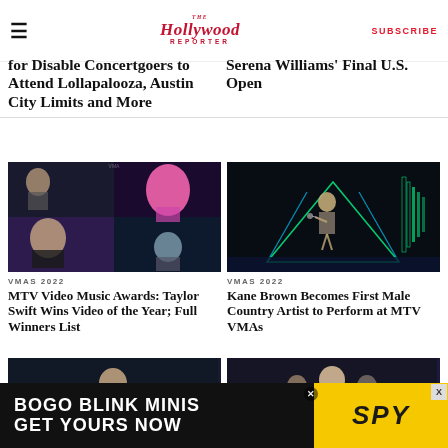The Hollywood Reporter — SUBSCRIBE
for Disable Concertgoers to Attend Lollapalooza, Austin City Limits and More
Serena Williams' Final U.S. Open
[Figure (photo): MTV VMAs 2022 collage showing award winners including woman in pink wig and others on stage]
VMAS 2022
MTV Video Music Awards: Taylor Swift Wins Video of the Year; Full Winners List
[Figure (photo): Kane Brown performing at MTV VMAs 2022 on glowing neon-lit geometric stage]
VMAS 2022
Kane Brown Becomes First Male Country Artist to Perform at MTV VMAs
[Figure (photo): Person on stage at VMAs with crowd in background]
[Figure (photo): Taylor Swift accepting award at VMAs 2022 surrounded by others on stage]
[Figure (advertisement): BOGO BLINK MINIS GET YOURS NOW - SPY advertisement banner]